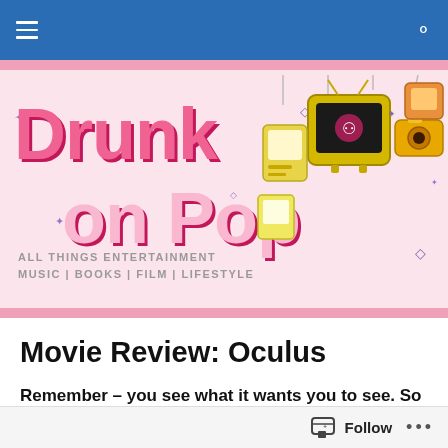Drunk on Pop — navigation bar
[Figure (logo): Drunk on Pop blog logo banner with pink bubble text on light pink background, decorative icons (camera, TV, photos) on right side, sparkle decorations. Subtitle: ALL THINGS ENTERTAINMENT / MUSIC | BOOKS | FILM | LIFESTYLE]
Movie Review: Oculus
Remember – you see what it wants you to see. So you might want to avoid your mirrors.
Follow